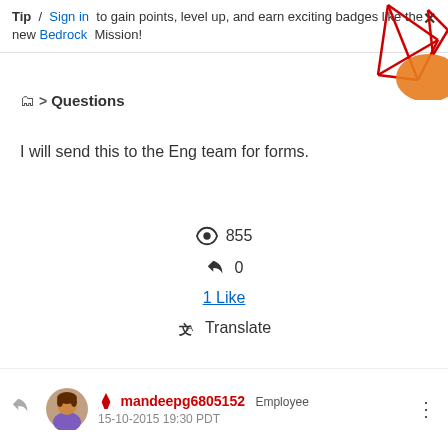Tip / Sign in to gain points, level up, and earn exciting badges like the new Bedrock Mission!
📁 > Questions
I will send this to the Eng team for forms.
👁 855
↩ 0
1 Like
Translate
Reply
mandeepg6805152  Employee
15-10-2015 19:30 PDT